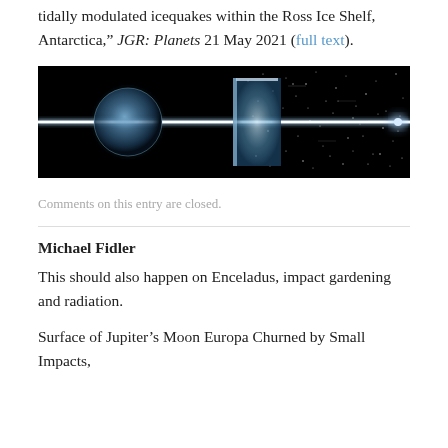tidally modulated icequakes within the Ross Ice Shelf, Antarctica," JGR: Planets 21 May 2021 (full text).
[Figure (photo): Artistic rendering of a bright beam of light passing through a planet or spherical body against a dark starfield background, with a glowing rectangular region on the right side.]
Comments on this entry are closed.
Michael Fidler
This should also happen on Enceladus, impact gardening and radiation.
Surface of Jupiter's Moon Europa Churned by Small Impacts,